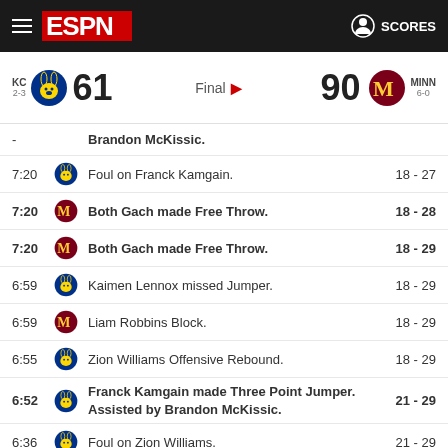ESPN SCORES
KC 2-3  61  Final  90  MINN 6-0
- Brandon McKissic.
7:20  Foul on Franck Kamgain.  18 - 27
7:20  Both Gach made Free Throw.  18 - 28
7:20  Both Gach made Free Throw.  18 - 29
6:59  Kaimen Lennox missed Jumper.  18 - 29
6:59  Liam Robbins Block.  18 - 29
6:55  Zion Williams Offensive Rebound.  18 - 29
6:52  Franck Kamgain made Three Point Jumper. Assisted by Brandon McKissic.  21 - 29
6:36  Foul on Zion Williams.  21 - 29
6:36  Jamal Mashburn Jr. made Free Throw.  21 - 30
6:36  Jamal Mashburn Jr. made Free Throw.  21 - 31